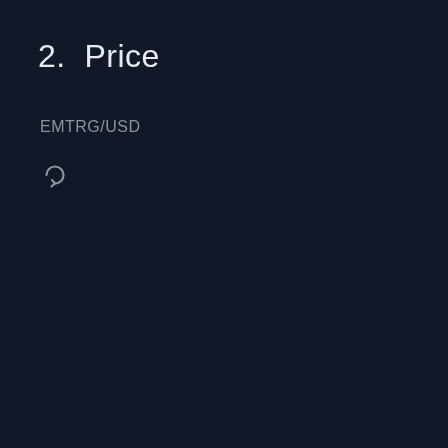2. Price
EMTRG/USD
[Figure (other): Refresh/sync circular arrow icon in grey]